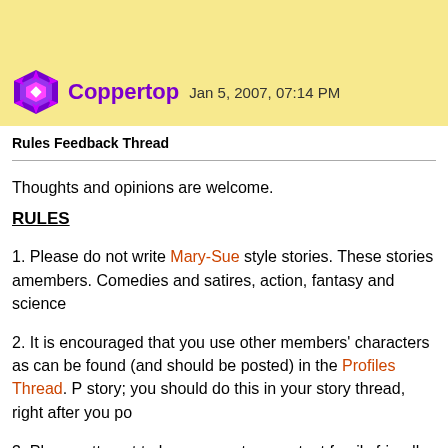Coppertop  Jan 5, 2007, 07:14 PM
Rules Feedback Thread
Thoughts and opinions are welcome.
RULES
1. Please do not write Mary-Sue style stories. These stories are members. Comedies and satires, action, fantasy and science
2. It is encouraged that you use other members' characters as can be found (and should be posted) in the Profiles Thread. P story; you should do this in your story thread, right after you po
3. Please attempt to keep your story content family friendly. If that effect. (Example: Story Title [DRUG CONTENT]) If there i message to myself or an administrator requesting it. If your sto
4. Do not include any explicit sexual content in your story. If yo